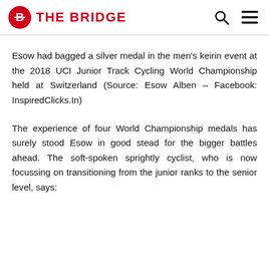THE BRIDGE
Esow had bagged a silver medal in the men's keirin event at the 2018 UCI Junior Track Cycling World Championship held at Switzerland (Source: Esow Alben – Facebook: InspiredClicks.In)
The experience of four World Championship medals has surely stood Esow in good stead for the bigger battles ahead. The soft-spoken sprightly cyclist, who is now focussing on transitioning from the junior ranks to the senior level, says: